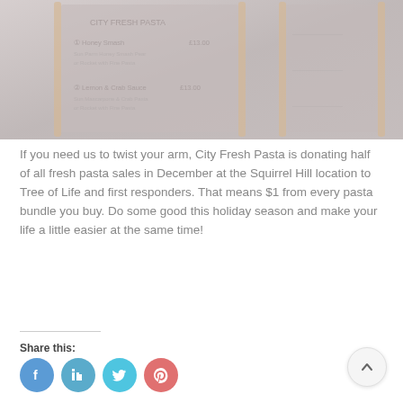[Figure (photo): Photo of a restaurant chalkboard menu sign (A-frame board) showing City Fresh Pasta menu items with prices. The image is faded/light gray toned.]
If you need us to twist your arm, City Fresh Pasta is donating half of all fresh pasta sales in December at the Squirrel Hill location to Tree of Life and first responders. That means $1 from every pasta bundle you buy. Do some good this holiday season and make your life a little easier at the same time!
Share this: